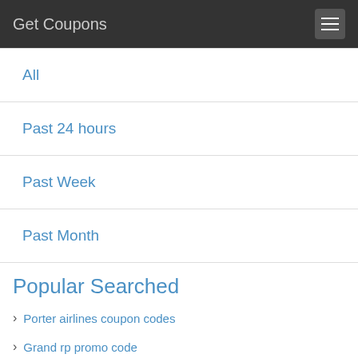Get Coupons
All
Past 24 hours
Past Week
Past Month
Popular Searched
Porter airlines coupon codes
Grand rp promo code
Uncommon goods promo code
Dinosaur quest coupon code